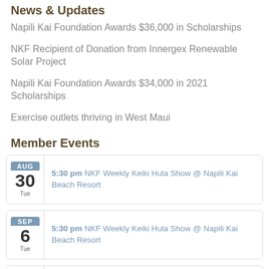News & Updates
Napili Kai Foundation Awards $36,000 in Scholarships
NKF Recipient of Donation from Innergex Renewable Solar Project
Napili Kai Foundation Awards $34,000 in 2021 Scholarships
Exercise outlets thriving in West Maui
Member Events
AUG 30 Tue — 5:30 pm NKF Weekly Keiki Hula Show @ Napili Kai Beach Resort
SEP 6 Tue — 5:30 pm NKF Weekly Keiki Hula Show @ Napili Kai Beach Resort